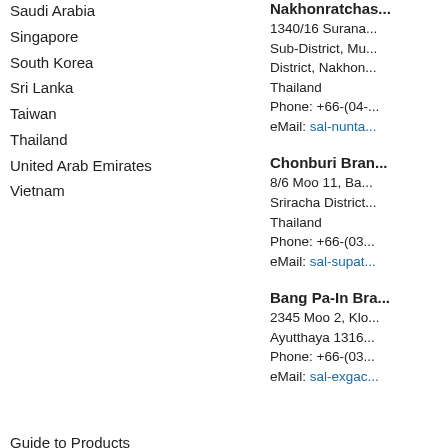Saudi Arabia
Singapore
South Korea
Sri Lanka
Taiwan
Thailand
United Arab Emirates
Vietnam
Guide to Products Conforming to International Standards
Famous Trademark for China
Nakhonratchas...
1340/16 Surana...
Sub-District, Mu...
District, Nakhon...
Thailand
Phone: +66-(04-...
eMail: sal-nunta...
Chonburi Bran...
8/6 Moo 11, Ba...
Sriracha District...
Thailand
Phone: +66-(03...
eMail: sal-supat...
Bang Pa-In Bra...
2345 Moo 2, Klo...
Ayutthaya 1316...
Phone: +66-(03...
eMail: sal-exgac...